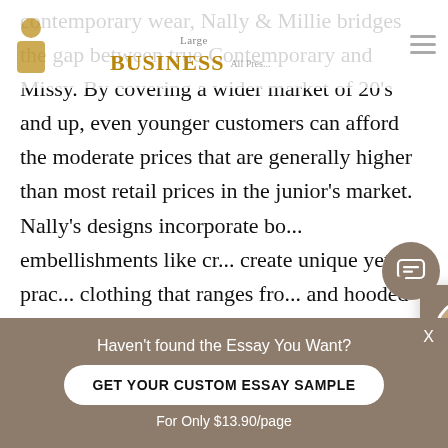contemporary wear, Nally & Millie bridges the gap between true Contemporary and Missy. By covering a wider market of 20's and up, even younger customers can afford the moderate prices that are generally higher than most retail prices in the junior's market. Nally's designs incorporate both embellishments like cr... create unique yet prac... clothing that ranges fro... and hooded fleece se... thousand pieces in the...
[Figure (screenshot): Chat popup overlay with avatar photo of a woman, header 'Hi! I'm Dana' on brown background, body text 'Would you like to get such a paper? How about receiving a customized one?' and a 'Check it out' link.]
Would you like to get such a paper? How about receiving a customized one?
Check it out
Haven't found the Essay You Want?
GET YOUR CUSTOM ESSAY SAMPLE
For Only $13.90/page